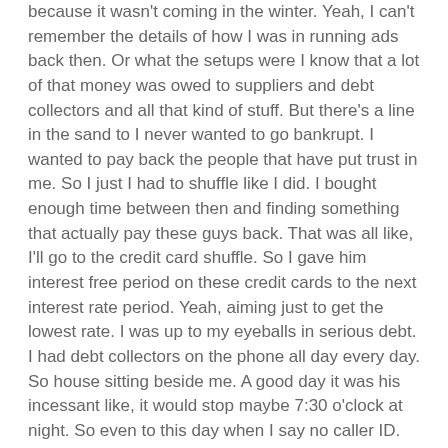because it wasn't coming in the winter. Yeah, I can't remember the details of how I was in running ads back then. Or what the setups were I know that a lot of that money was owed to suppliers and debt collectors and all that kind of stuff. But there's a line in the sand to I never wanted to go bankrupt. I wanted to pay back the people that have put trust in me. So I just I had to shuffle like I did. I bought enough time between then and finding something that actually pay these guys back. That was all like, I'll go to the credit card shuffle. So I gave him interest free period on these credit cards to the next interest rate period. Yeah, aiming just to get the lowest rate. I was up to my eyeballs in serious debt. I had debt collectors on the phone all day every day. So house sitting beside me. A good day it was his incessant like, it would stop maybe 7:30 o'clock at night. So even to this day when I say no caller ID.
Michael
Man. That sounds like that's stressful.